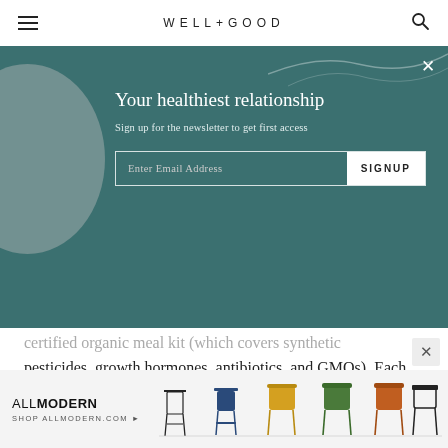WELL+GOOD
[Figure (screenshot): Newsletter signup modal with teal/dark green background, decorative gray circle on left, wavy line top right, close X button. Title: 'Your healthiest relationship'. Subtitle: 'Sign up for the newsletter to get first access'. Email input with SIGNUP button.]
certified organic meal kit (which covers synthetic pesticides, growth hormones, antibiotics, and GMOs). Each box is jam-packed with all the fixings to make two to three meals for two to four people in roughly 30 minutes. For those who like a nice neat fridge, the ingredients come color-coded.
[Figure (screenshot): AllModern advertisement banner showing logo 'ALLMODERN', text 'SHOP ALLMODERN.COM' with arrow, and illustration of various modern chairs on white background.]